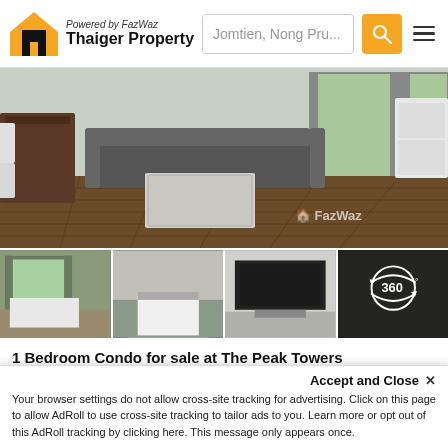[Figure (logo): Thaiger Property logo with house icon and FazWaz branding]
Jomtien, Nong Pru...
[Figure (photo): Main interior photo of condo living room with sofa, coffee table, dining area, and large window. FazWaz watermark visible.]
[Figure (photo): Four thumbnail photos of condo rooms including bedroom views, TV area, and 360-degree tour button]
1 Bedroom Condo for sale at The Peak Towers
Project InformationThe Peak Towers is an exclusive, twin tower high rise condominium development located in the popular, upmarket Cozy Beach area of Pattaya. The project comprises 474 apartments acros...
1  1  46.93 SqM  Condo
Accept and Close ✕
Your browser settings do not allow cross-site tracking for advertising. Click on this page to allow AdRoll to use cross-site tracking to tailor ads to you. Learn more or opt out of this AdRoll tracking by clicking here. This message only appears once.